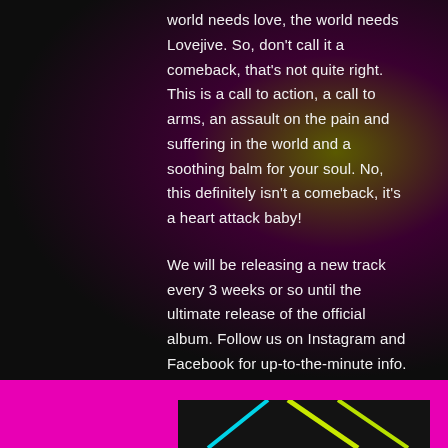world needs love, the world needs Lovejive. So, don't call it a comeback, that's not quite right. This is a call to action, a call to arms, an assault on the pain and suffering in the world and a soothing balm for your soul. No, this definitely isn't a comeback, it's a heart attack baby!
We will be releasing a new track every 3 weeks or so until the ultimate release of the official album. Follow us on Instagram and Facebook for up-to-the-minute info.
[Figure (illustration): Album artwork preview showing neon colored diagonal lines (cyan and yellow-green) on a dark/black background, framed by a bright magenta/pink border band.]